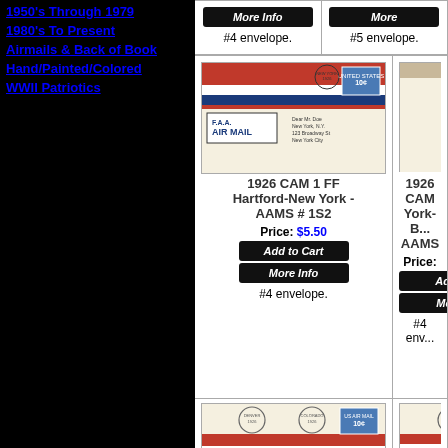1950's Through 1979
1980's To Present
Airmails & Back of Book
Hand/Painted/Colored
WWII Patriotics
[Figure (other): More Info button (partial top)]
#4 envelope.
#5 envelope.
[Figure (photo): F.A.A. Air Mail first flight cover with red/white/blue stripes, 10 cent US airmail stamp, New York 1926 postmark]
1926 CAM 1 FF Hartford-New York - AAMS # 1S2
Price: $5.50
Add to Cart
More Info
#4 envelope.
[Figure (photo): 1926 first flight cover with circular Air Route postmark, partial view]
1926 CAM York-B... AAMS
Price:
[Figure (photo): 1926 CAM 12 FF airmail cover with Denver/Colorado postmarks, red/white/blue stripes, 10 cent stamp]
1926 CAM 12 FF Denver-Colorado
[Figure (photo): 1926 first flight cover with Pueblo postmark, via airmail, partial view]
1926 CA... Pueblo-...